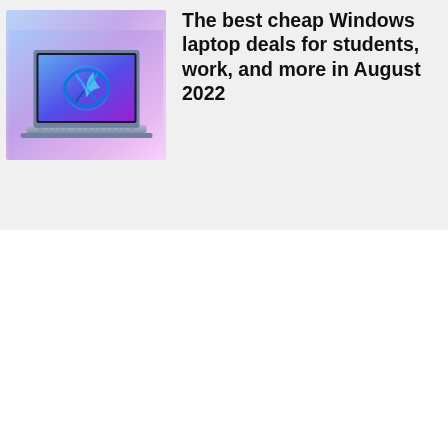[Figure (photo): A laptop with Windows 11 displayed on its screen, shown against a purple/blue gradient background]
The best cheap Windows laptop deals for students, work, and more in August 2022